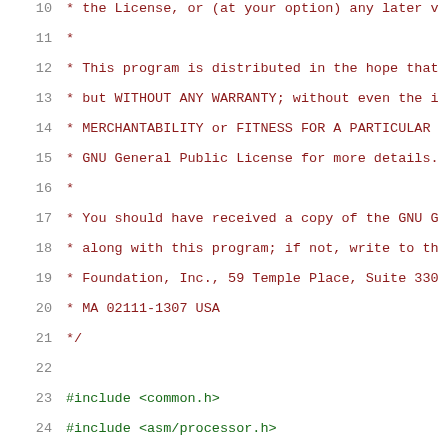Source code listing, lines 10-31, C header file with GPL license comment and #include directives
10:  * the License, or (at your option) any later v
11:  *
12:  * This program is distributed in the hope that
13:  * but WITHOUT ANY WARRANTY; without even the i
14:  * MERCHANTABILITY or FITNESS FOR A PARTICULAR
15:  * GNU General Public License for more details.
16:  *
17:  * You should have received a copy of the GNU G
18:  * along with this program; if not, write to th
19:  * Foundation, Inc., 59 Temple Place, Suite 330
20:  * MA 02111-1307 USA
21:  */
22:
23: #include <common.h>
24: #include <asm/processor.h>
25: #include <asm/fsl_ddr_sdram.h>
26: #include <asm/mmu.h>
27: #include <asm/io.h>
28: #include <fdt_support.h>
29: #include <pca953x.h>
30: #include "../common/fsl_8xxx_misc.h"
31: